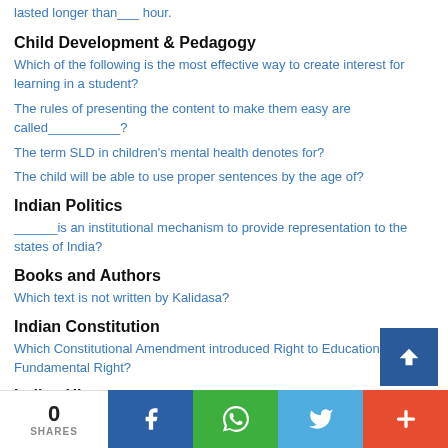lasted longer than___ hour.
Child Development & Pedagogy
Which of the following is the most effective way to create interest for learning in a student?
The rules of presenting the content to make them easy are called__________?
The term SLD in children's mental health denotes for?
The child will be able to use proper sentences by the age of?
Indian Politics
______is an institutional mechanism to provide representation to the states of India?
Books and Authors
Which text is not written by Kalidasa?
Indian Constitution
Which Constitutional Amendment introduced Right to Education as a Fundamental Right?
Indian History
Which animal is engraved on Harappan seals?
Indian Politics
Who is known for initiating electoral reforms in India to ensu...
0 SHARES